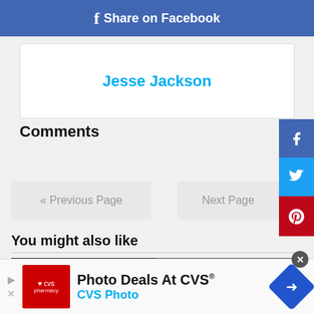f Share on Facebook
Jesse Jackson
Comments
« Previous Page
Next Page
You might also like
[Figure (screenshot): CVS Pharmacy advertisement banner: Photo Deals At CVS® / CVS Photo]
Photo Deals At CVS®
CVS Photo